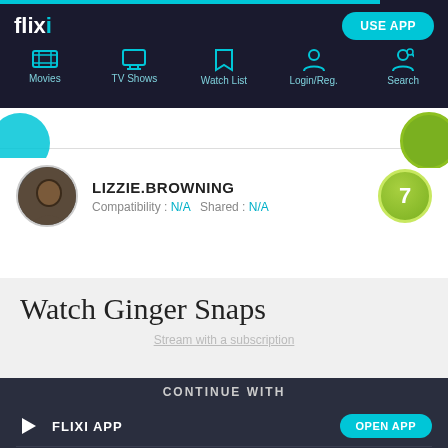flixi — USE APP — Movies, TV Shows, Watch List, Login/Reg., Search
[Figure (screenshot): Flixi navigation bar with teal/dark theme showing logo, USE APP button, and nav icons for Movies, TV Shows, Watch List, Login/Reg., Search]
LIZZIE.BROWNING
Compatibility : N/A  Shared : N/A
7
Watch Ginger Snaps
Stream with a subscription
CONTINUE WITH
FLIXI APP — OPEN APP
CHROME — CONTINUE